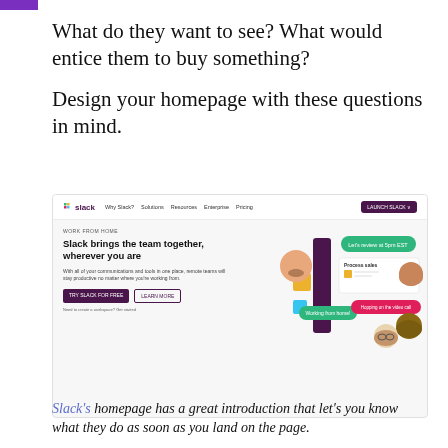What do they want to see? What would entice them to buy something?
Design your homepage with these questions in mind.
[Figure (screenshot): Screenshot of Slack's homepage showing navigation bar with 'Why Slack?', 'Solutions', 'Resources', 'Enterprise', 'Pricing' links and a 'LAUNCH SLACK' purple button. The hero section shows the headline 'Slack brings the team together, wherever you are' with descriptive text, two buttons ('TRY SLACK FOR FREE' and 'LEARN MORE'), and an illustration of remote team communication with chat bubbles and profile photos.]
Slack's homepage has a great introduction that let's you know what they do as soon as you land on the page.